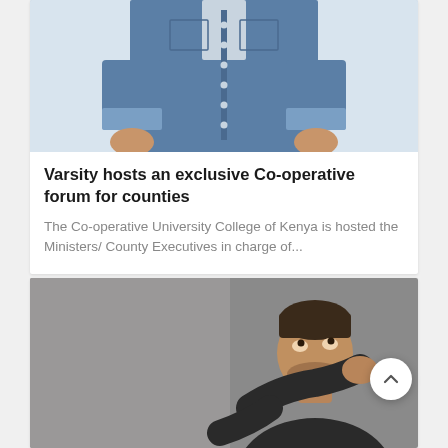[Figure (photo): Person wearing a denim shirt with rolled-up sleeves, torso/midsection visible against white background]
Varsity hosts an exclusive Co-operative forum for counties
The Co-operative University College of Kenya is hosted the Ministers/ County Executives in charge of...
[Figure (photo): Man in dark shirt looking upward with hand behind neck, against grey background]